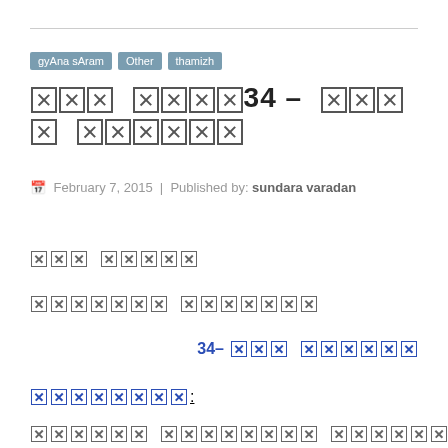gyAna sAram | Other | thamizh
[Tamil script] 34 – [Tamil script]
February 7, 2015 | Published by: sundara varadan
[Tamil text line 1]
[Tamil text line 2]
34-[Tamil text]
[Tamil text link]:
[Tamil text line 3]